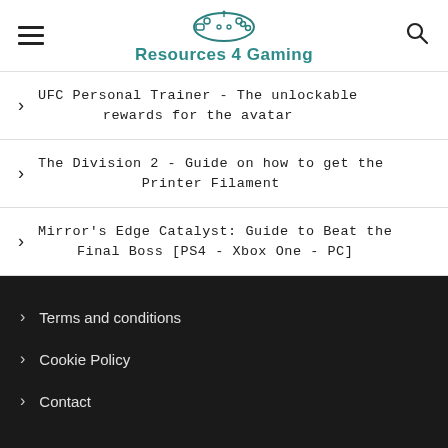Resources 4 Gaming
UFC Personal Trainer - The unlockable rewards for the avatar
The Division 2 - Guide on how to get the Printer Filament
Mirror's Edge Catalyst: Guide to Beat the Final Boss [PS4 - Xbox One - PC]
Terms and conditions
Cookie Policy
Contact